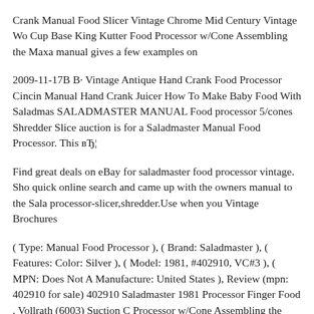Crank Manual Food Slicer Vintage Chrome Mid Century Vintage Wo Cup Base King Kutter Food Processor w/Cone Assembling the Maxa manual gives a few examples on
2009-11-17B B· Vintage Antique Hand Crank Food Processor Cincin Manual Hand Crank Juicer How To Make Baby Food With Saladmas SALADMASTER MANUAL Food processor 5/cones Shredder Slice auction is for a Saladmaster Manual Food Processor. This вЂ¦
Find great deals on eBay for saladmaster food processor vintage. Sho quick online search and came up with the owners manual to the Sala processor-slicer,shredder.Use when you Vintage Brochures
( Type: Manual Food Processor ), ( Brand: Saladmaster ), ( Features: Color: Silver ), ( Model: 1981, #402910, VC#3 ), ( MPN: Does Not A Manufacture: United States ), Review (mpn: 402910 for sale) 402910 Saladmaster 1981 Processor Finger Food . Vollrath (6003) Suction C Processor w/Cone Assembling the Maxam vegetable chopper is The on